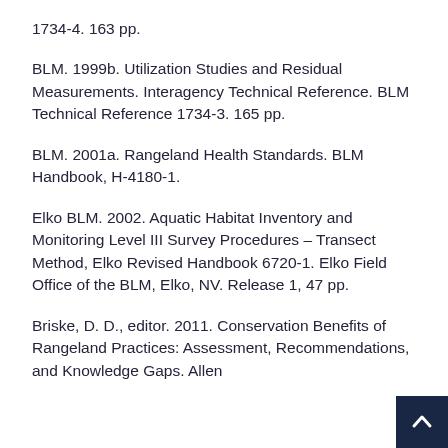1734-4. 163 pp.
BLM. 1999b. Utilization Studies and Residual Measurements. Interagency Technical Reference. BLM Technical Reference 1734-3. 165 pp.
BLM. 2001a. Rangeland Health Standards. BLM Handbook, H-4180-1.
Elko BLM. 2002. Aquatic Habitat Inventory and Monitoring Level III Survey Procedures – Transect Method, Elko Revised Handbook 6720-1. Elko Field Office of the BLM, Elko, NV. Release 1, 47 pp.
Briske, D. D., editor. 2011. Conservation Benefits of Rangeland Practices: Assessment, Recommendations, and Knowledge Gaps. Allen